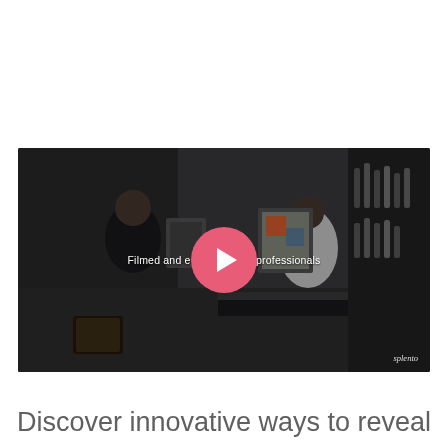[Figure (screenshot): A video thumbnail showing a bar scene with two people — one person in black on the left and a bartender in white on the right. A large pink/coral circular play button is centered over the image. Text reads 'Filmed and edited by professionals'. A 'splento' watermark appears in the bottom right corner.]
Discover innovative ways to reveal